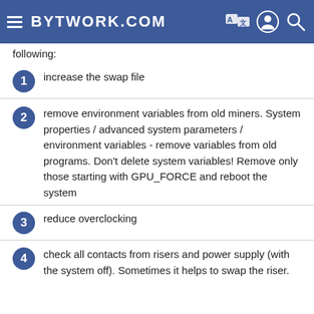BYTWORK.COM
following:
increase the swap file
remove environment variables from old miners. System properties / advanced system parameters / environment variables - remove variables from old programs. Don't delete system variables! Remove only those starting with GPU_FORCE and reboot the system
reduce overclocking
check all contacts from risers and power supply (with the system off). Sometimes it helps to swap the riser.